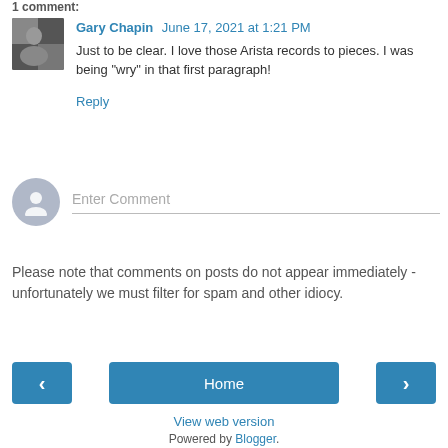1 comment:
Gary Chapin June 17, 2021 at 1:21 PM
Just to be clear. I love those Arista records to pieces. I was being "wry" in that first paragraph!
Reply
Enter Comment
Please note that comments on posts do not appear immediately - unfortunately we must filter for spam and other idiocy.
Home
View web version
Powered by Blogger.